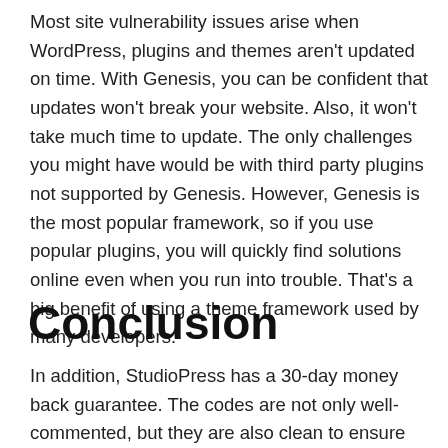Most site vulnerability issues arise when WordPress, plugins and themes aren't updated on time. With Genesis, you can be confident that updates won't break your website. Also, it won't take much time to update. The only challenges you might have would be with third party plugins not supported by Genesis. However, Genesis is the most popular framework, so if you use popular plugins, you will quickly find solutions online even when you run into trouble. That's a big benefit of using a theme framework used by many developers.
Conclusion
In addition, StudioPress has a 30-day money back guarantee. The codes are not only well-commented, but they are also clean to ensure faster loading. To ensure that your website runs at maximum speed, the codes are even compressed. A faster loading website is very important because just a minute